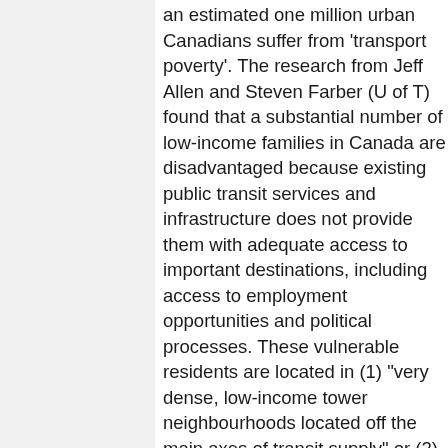an estimated one million urban Canadians suffer from 'transport poverty'. The research from Jeff Allen and Steven Farber (U of T) found that a substantial number of low-income families in Canada are disadvantaged because existing public transit services and infrastructure does not provide them with adequate access to important destinations, including access to employment opportunities and political processes. These vulnerable residents are located in (1) "very dense, low-income tower neighbourhoods located off the main axes of transit supply" or (2) "low-density suburban urban forms" (Allen & Farber, 2019, p.215).